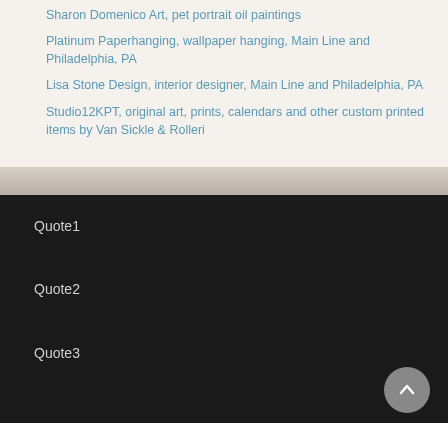Sharon Domenico Art, pet portrait oil paintings
Platinum Paperhanging, wallpaper hanging, Main Line and Philadelphia, PA
Lisa Stone Design, interior designer, Main Line and Philadelphia, PA
Studio12KPT, original art, prints, calendars and other custom printed items by Van Sickle & Rolleri
Quote1
Quote2
Quote3